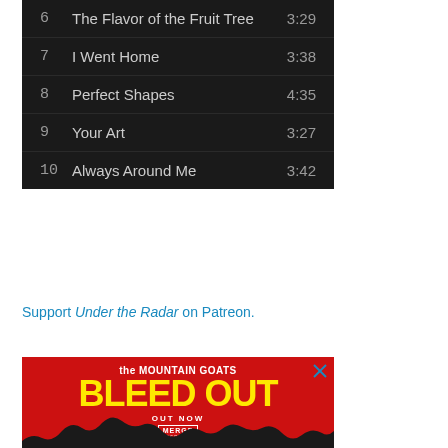| # | Title | Duration |
| --- | --- | --- |
| 6 | The Flavor of the Fruit Tree | 3:29 |
| 7 | I Went Home | 3:38 |
| 8 | Perfect Shapes | 4:35 |
| 9 | Your Art | 3:27 |
| 10 | Always Around Me | 3:42 |
Support Under the Radar on Patreon.
[Figure (advertisement): The Mountain Goats - Bleed Out album advertisement on red background with yellow text, Out Now, Merge Records, black silhouette landscape at bottom]